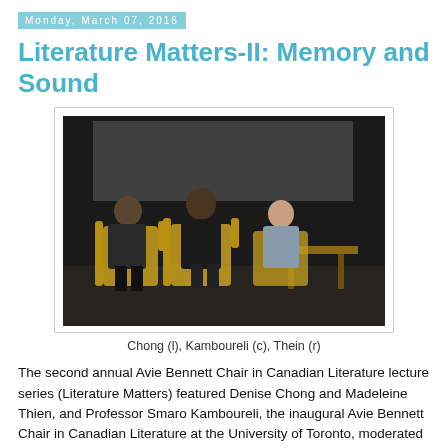Monday, March 07, 2016
Literature Matters-II: Memory and Sound
[Figure (photo): Three women seated on stage in chairs during a panel discussion. Photo shows Chong on the left, Kamboureli in the center, and Thein on the right, on a darkened stage.]
Chong (l), Kamboureli (c), Thein (r)
The second annual Avie Bennett Chair in Canadian Literature lecture series (Literature Matters) featured Denise Chong and Madeleine Thien, and Professor Smaro Kamboureli, the inaugural Avie Bennett Chair in Canadian Literature at the University of Toronto, moderated the conversation between two women of letters.